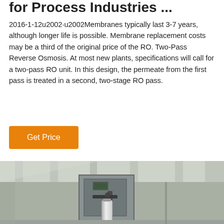for Process Industries ...
2016-1-12u2002·u2002Membranes typically last 3-7 years, although longer life is possible. Membrane replacement costs may be a third of the original price of the RO. Two-Pass Reverse Osmosis. At most new plants, specifications will call for a two-pass RO unit. In this design, the permeate from the first pass is treated in a second, two-stage RO pass.
Get Price
[Figure (photo): Industrial reverse osmosis equipment panel mounted in a clean room environment with pipes and canisters visible, ceiling panels visible above]